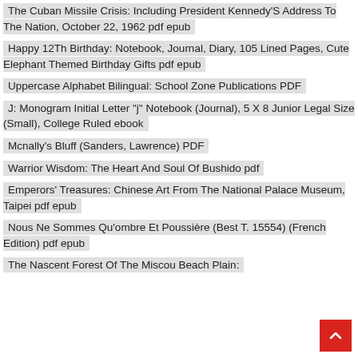The Cuban Missile Crisis: Including President Kennedy'S Address To The Nation, October 22, 1962 pdf epub
Happy 12Th Birthday: Notebook, Journal, Diary, 105 Lined Pages, Cute Elephant Themed Birthday Gifts pdf epub
Uppercase Alphabet Bilingual: School Zone Publications PDF
J: Monogram Initial Letter "j" Notebook (Journal), 5 X 8 Junior Legal Size (Small), College Ruled ebook
Mcnally's Bluff (Sanders, Lawrence) PDF
Warrior Wisdom: The Heart And Soul Of Bushido pdf
Emperors' Treasures: Chinese Art From The National Palace Museum, Taipei pdf epub
Nous Ne Sommes Qu'ombre Et Poussière (Best T. 15554) (French Edition) pdf epub
The Nascent Forest Of The Miscou Beach Plain: